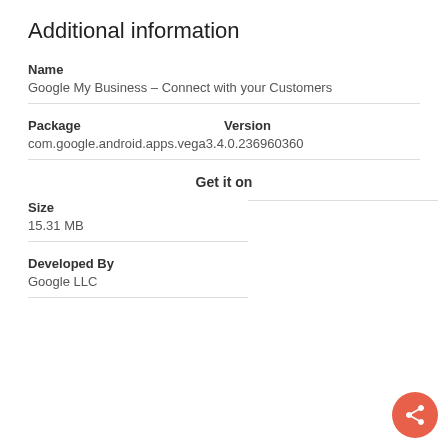Additional information
Name
Google My Business – Connect with your Customers
Package
Version
com.google.android.apps.vega3.4.0.236960360
Get it on
Size
15.31 MB
Developed By
Google LLC